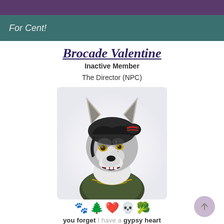For Cent!
Brocade Valentine
Inactive Member
The Director (NPC)
[Figure (illustration): Digital art portrait of an anthropomorphic wolf character with grey and white fur, dark hair in a bun with red ribbon, yellow eyes, scar on face, wearing a dark military-style collar/jacket with gold trim, mouth open in a grin, facing slightly right.]
🐾 🌲 ❤️ 💀 🥦
you forget I have a gypsy heart
listen to the wild